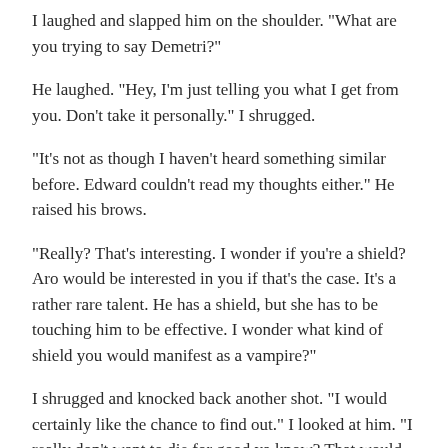I laughed and slapped him on the shoulder. "What are you trying to say Demetri?"
He laughed. "Hey, I'm just telling you what I get from you. Don't take it personally." I shrugged.
"It's not as though I haven't heard something similar before. Edward couldn't read my thoughts either." He raised his brows.
"Really? That's interesting. I wonder if you're a shield? Aro would be interested in you if that's the case. It's a rather rare talent. He has a shield, but she has to be touching him to be effective. I wonder what kind of shield you would manifest as a vampire?"
I shrugged and knocked back another shot. "I would certainly like the chance to find out." I looked at him. "I really don't want to die for good ya know? That would put